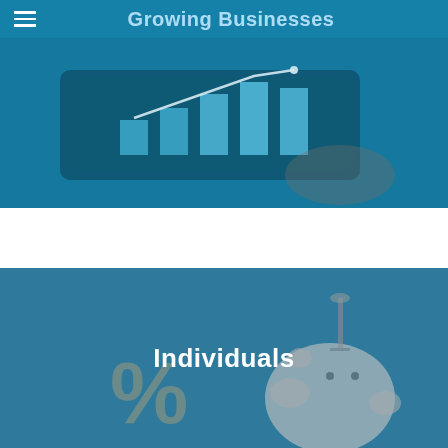Growing Businesses
[Figure (photo): Person holding a tablet displaying a bar chart with upward growth trend line, tinted in blue overlay — representing growing businesses]
[Figure (photo): Person inserting a coin into a piggy bank with a percentage symbol cutout in foreground, tinted in blue-grey overlay — representing individuals/personal finance]
Individuals